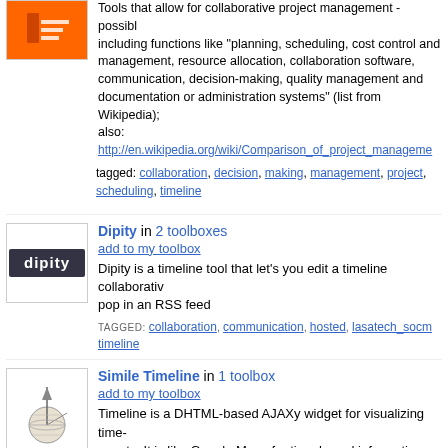Tools that allow for collaborative project management - possibly including functions like "planning, scheduling, cost control and management, resource allocation, collaboration software, communication, decision-making, quality management and documentation or administration systems" (list from Wikipedia); also:
http://en.wikipedia.org/wiki/Comparison_of_project_management
tagged: collaboration, decision, making, management, project, scheduling, timeline
[Figure (logo): Dipity logo - dark navy background with white text 'dipity']
Dipity in 2 toolboxes
add to my toolbox
Dipity is a timeline tool that let’s you edit a timeline collaboratively, pop in an RSS feed
TAGGED: collaboration, communication, hosted, lasatech_socm, timeline
[Figure (illustration): Sundial illustration for Simile Timeline]
Simile Timeline in 1 toolbox
add to my toolbox
Timeline is a DHTML-based AJAXy widget for visualizing time-based events. It is like Google Maps for time-based information.
TAGGED: schedule, scheduling, time, timeline, timeplot, widgit
Timeplot in 0 toolboxes